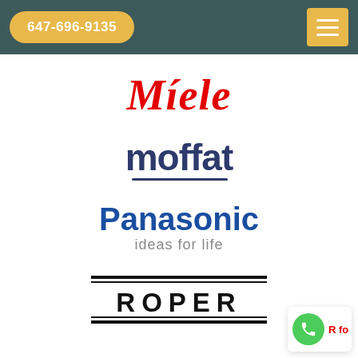647-696-9135
[Figure (logo): Miele brand logo in red italic serif font]
[Figure (logo): Moffat brand logo in dark navy blue sans-serif font with underline]
[Figure (logo): Panasonic brand logo in blue with tagline 'ideas for life' in grey]
[Figure (logo): Roper brand logo in black bold uppercase letters with rectangular border]